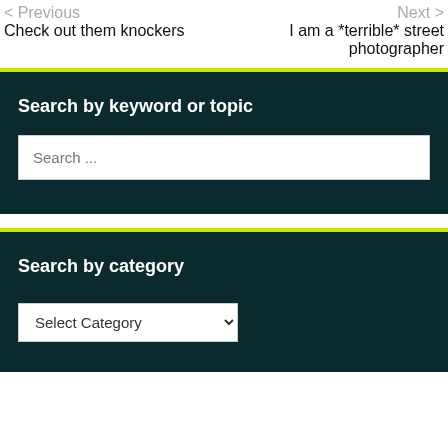< Previous
Check out them knockers
Next >
I am a *terrible* street photographer
Search by keyword or topic
Search ...
Search by category
Select Category